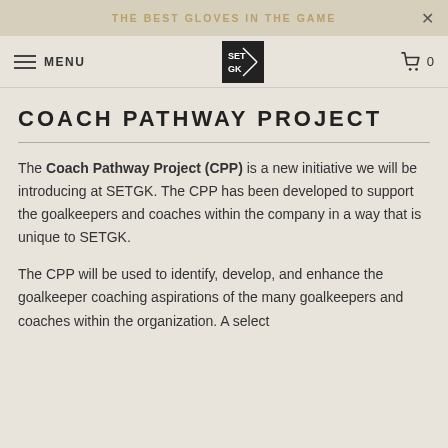THE BEST GLOVES IN THE GAME
COACH PATHWAY PROJECT
The Coach Pathway Project (CPP) is a new initiative we will be introducing at SETGK. The CPP has been developed to support the goalkeepers and coaches within the company in a way that is unique to SETGK.
The CPP will be used to identify, develop, and enhance the goalkeeper coaching aspirations of the many goalkeepers and coaches within the organization. A select